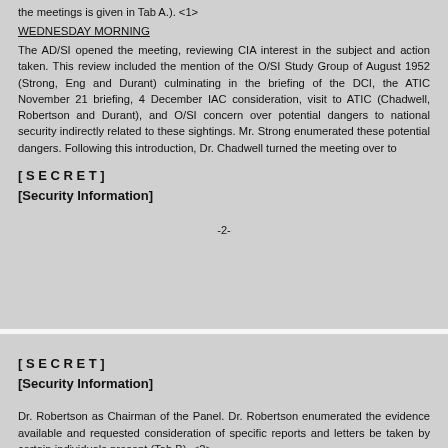the meetings is given in Tab A.). <1>
WEDNESDAY MORNING
The AD/SI opened the meeting, reviewing CIA interest in the subject and action taken. This review included the mention of the O/SI Study Group of August 1952 (Strong, Eng and Durant) culminating in the briefing of the DCI, the ATIC November 21 briefing, 4 December IAC consideration, visit to ATIC (Chadwell, Robertson and Durant), and O/SI concern over potential dangers to national security indirectly related to these sightings. Mr. Strong enumerated these potential dangers. Following this introduction, Dr. Chadwell turned the meeting over to
[ S E C R E T ]
[Security Information]
-2-
[ S E C R E T ]
[Security Information]
Dr. Robertson as Chairman of the Panel. Dr. Robertson enumerated the evidence available and requested consideration of specific reports and letters be taken by certain individuals present (Tab B). <2>